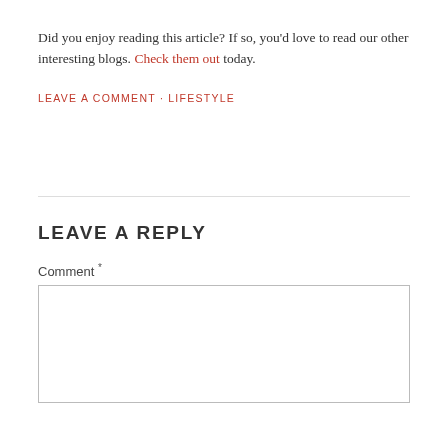Did you enjoy reading this article? If so, you'd love to read our other interesting blogs. Check them out today.
LEAVE A COMMENT · LIFESTYLE
LEAVE A REPLY
Comment *